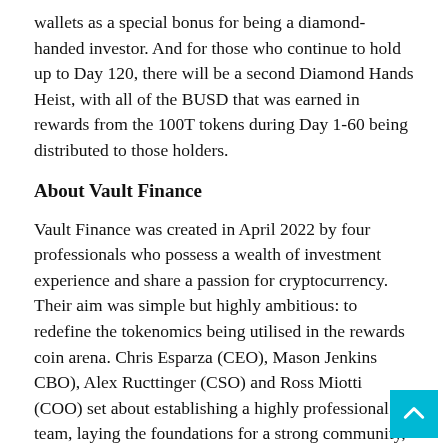wallets as a special bonus for being a diamond-handed investor. And for those who continue to hold up to Day 120, there will be a second Diamond Hands Heist, with all of the BUSD that was earned in rewards from the 100T tokens during Day 1-60 being distributed to those holders.
About Vault Finance
Vault Finance was created in April 2022 by four professionals who possess a wealth of investment experience and share a passion for cryptocurrency. Their aim was simple but highly ambitious: to redefine the tokenomics being utilised in the rewards coin arena. Chris Esparza (CEO), Mason Jenkins CBO), Alex Ructtinger (CSO) and Ross Miotti (COO) set about establishing a highly professional team, laying the foundations for a strong community, and securing the services of an innovative group of developers. Strategic partnerships with established projects were quick to follow.
Given the core team's own investment experience, they understand the concerns that many people have before investing for the very first time...